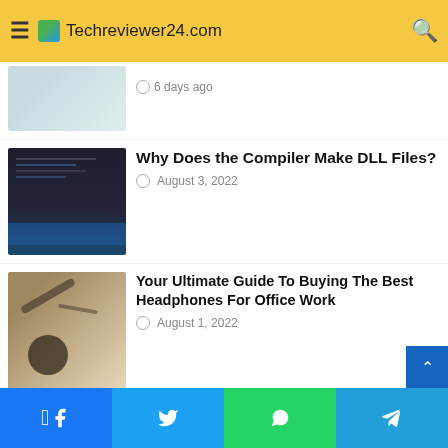Techreviewer24.com
[Figure (screenshot): Article thumbnail - partial room/window image]
6 days ago
[Figure (screenshot): Article thumbnail - code editor dark background]
Why Does the Compiler Make DLL Files?
August 3, 2022
[Figure (screenshot): Article thumbnail - cables and headphones on desk]
Your Ultimate Guide To Buying The Best Headphones For Office Work
August 1, 2022
[Figure (screenshot): Article thumbnail - people working with laptops and tablets]
HOW TO FIND A RELIABLE SOFTWARE DEVELOPMENT COMPANY?
July 22, 2022
[Figure (screenshot): Article thumbnail - technology abstract blue network lights]
How to create a smart contract?
July 8, 2022
Facebook  Twitter  WhatsApp  Telegram